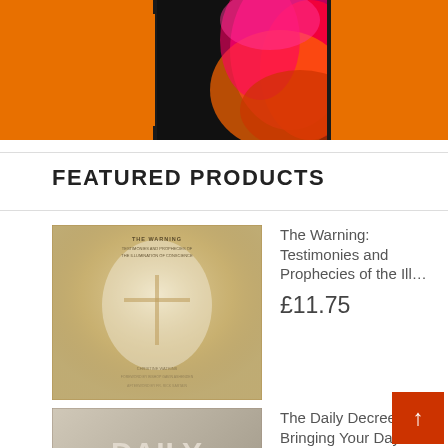[Figure (photo): Banner image with orange background and colorful wavy design with a dark phone/device]
FEATURED PRODUCTS
[Figure (photo): Book cover: The Warning: Testimonies and Prophecies of the Illumination of Conscience — cross on glowing background]
The Warning: Testimonies and Prophecies of the Ill…
£11.75
[Figure (photo): Book cover: The Daily Decree — dark muted tones with large title text]
The Daily Decree: Bringing Your Day Into Alignment…
£11.89